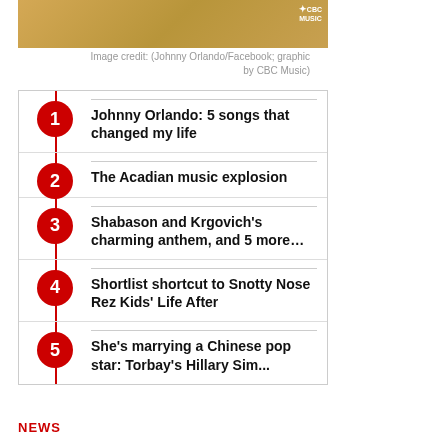[Figure (photo): Partial photo of Johnny Orlando with CBC Music logo overlay on golden/orange background]
Image credit: (Johnny Orlando/Facebook; graphic by CBC Music)
1. Johnny Orlando: 5 songs that changed my life
2. The Acadian music explosion
3. Shabason and Krgovich's charming anthem, and 5 more…
4. Shortlist shortcut to Snotty Nose Rez Kids' Life After
5. She's marrying a Chinese pop star: Torbay's Hillary Sim...
NEWS